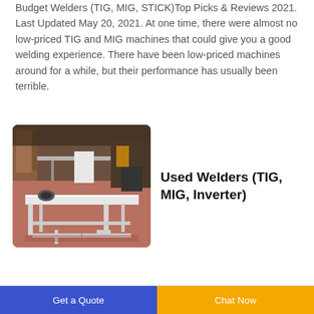Budget Welders (TIG, MIG, STICK)Top Picks & Reviews 2021. Last Updated May 20, 2021. At one time, there were almost no low-priced TIG and MIG machines that could give you a good welding experience. There have been low-priced machines around for a while, but their performance has usually been terrible.
[Figure (photo): Photo of a white metal welding table/workbench in an industrial warehouse setting. The table has a flat white surface and is sitting on a red/brown concrete floor surrounded by equipment and wooden structures.]
Used Welders (TIG, MIG, Inverter)
Get a Quote | Chat Now